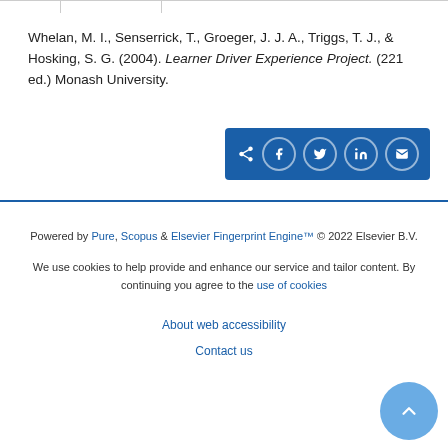Whelan, M. I., Senserrick, T., Groeger, J. J. A., Triggs, T. J., & Hosking, S. G. (2004). Learner Driver Experience Project. (221 ed.) Monash University.
[Figure (other): Social share bar with share, Facebook, Twitter, LinkedIn, and email icons on a dark blue background.]
Powered by Pure, Scopus & Elsevier Fingerprint Engine™ © 2022 Elsevier B.V.
We use cookies to help provide and enhance our service and tailor content. By continuing you agree to the use of cookies
About web accessibility
Contact us